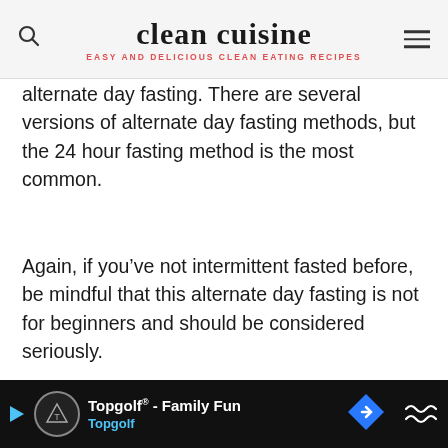clean cuisine — EASY AND DELICIOUS CLEAN EATING RECIPES
alternate day fasting. There are several versions of alternate day fasting methods, but the 24 hour fasting method is the most common.
Again, if you've not intermittent fasted before, be mindful that this alternate day fasting is not for beginners and should be considered seriously.
Alternate Day Fasting Schedule
The alternate day fasting schedule consists of alternating between a full 24 hour fast and ea... bit... ex... us and
Topgolf® - Family Fun | Topgolf